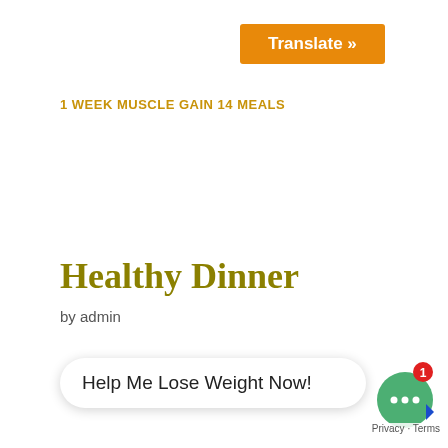[Figure (screenshot): Orange 'Translate »' button at top of page]
1 WEEK MUSCLE GAIN 14 MEALS
Healthy Dinner
by admin
Help Me Lose Weight Now!
[Figure (illustration): Green circular chat icon with ellipsis dots and red badge showing '1']
Privacy · Terms